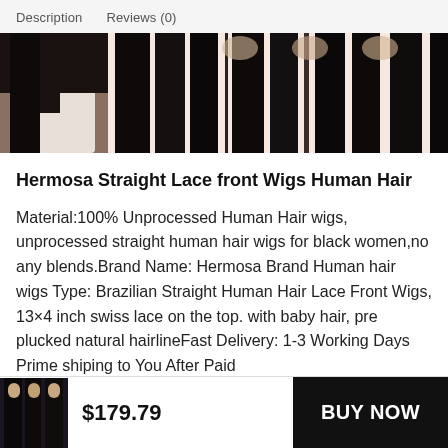Description   Reviews (0)
[Figure (photo): Product image strip showing straight black hair wigs on mannequin heads and a woman wearing a straight wig]
Hermosa Straight Lace front Wigs Human Hair
Material:100% Unprocessed Human Hair wigs, unprocessed straight human hair wigs for black women,no any blends.Brand Name: Hermosa Brand Human hair wigs Type: Brazilian Straight Human Hair Lace Front Wigs, 13×4 inch swiss lace on the top. with baby hair, pre plucked natural hairlineFast Delivery: 1-3 Working Days Prime shiping to You After Paid
[Figure (photo): Small thumbnail of straight black hair wigs]
$179.79
BUY NOW